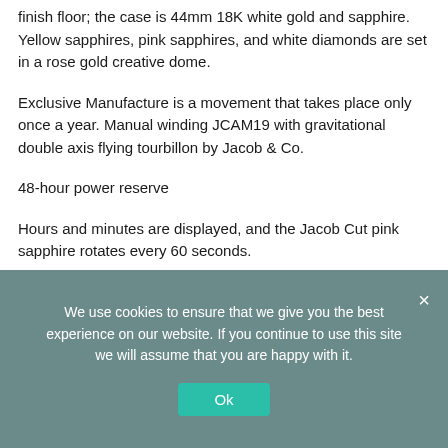finish floor; the case is 44mm 18K white gold and sapphire. Yellow sapphires, pink sapphires, and white diamonds are set in a rose gold creative dome.
Exclusive Manufacture is a movement that takes place only once a year. Manual winding JCAM19 with gravitational double axis flying tourbillon by Jacob & Co.
48-hour power reserve
Hours and minutes are displayed, and the Jacob Cut pink sapphire rotates every 60 seconds.
We use cookies to ensure that we give you the best experience on our website. If you continue to use this site we will assume that you are happy with it.